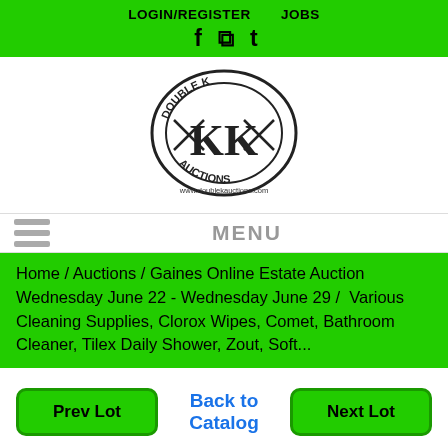LOGIN/REGISTER   JOBS
[Figure (logo): Social media icons: Facebook, Instagram, Twitter]
[Figure (logo): Double K Auctions circular logo with KK monogram and www.doublekauctions.com]
MENU
Home / Auctions / Gaines Online Estate Auction Wednesday June 22 - Wednesday June 29 /  Various Cleaning Supplies, Clorox Wipes, Comet, Bathroom Cleaner, Tilex Daily Shower, Zout, Soft...
Prev Lot   Back to Catalog   Next Lot